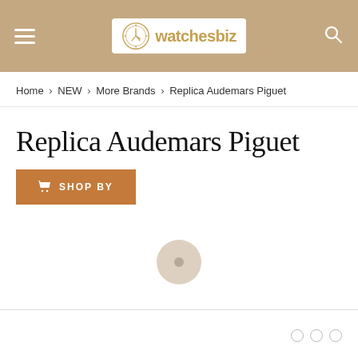watchesbiz — hamburger menu, logo, search icon
Home > NEW > More Brands > Replica Audemars Piguet
Replica Audemars Piguet
SHOP BY
[Figure (other): Loading spinner / circular loading indicator]
○ ○ ○ (pagination dots)